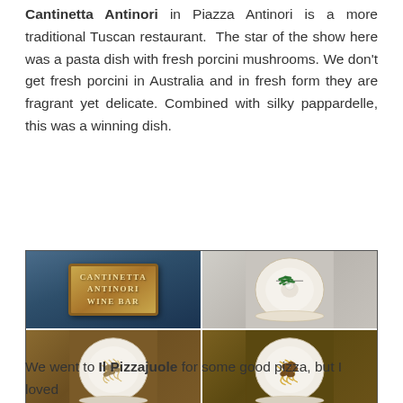Cantinetta Antinori in Piazza Antinori is a more traditional Tuscan restaurant. The star of the show here was a pasta dish with fresh porcini mushrooms. We don't get fresh porcini in Australia and in fresh form they are fragrant yet delicate. Combined with silky pappardelle, this was a winning dish.
[Figure (photo): Four-panel photo grid showing: top-left - illuminated Cantinetta Antinori Wine Bar wooden sign against blue background; top-right - white decorative plate with green bean salad; bottom-left - white decorative plate with pappardelle pasta and mushroom sauce; bottom-right - white decorative plate with pappardelle pasta and meat ragu sauce.]
We went to Il Pizzajuole for some good pizza, but I loved